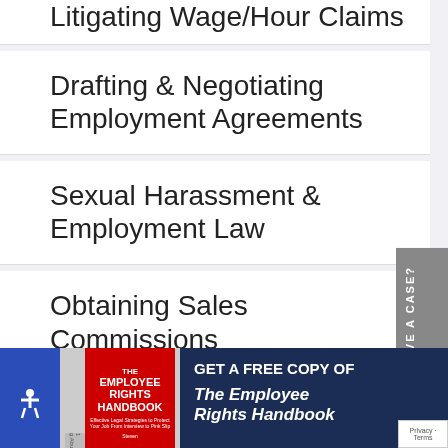Litigating Wage/Hour Claims
Drafting & Negotiating Employment Agreements
Sexual Harassment & Employment Law
Obtaining Sales Commissions
Class & Collective Actions
[Figure (other): Sidebar tab with text 'DO I HAVE A CASE?' rotated vertically]
[Figure (other): Accessibility icon button (wheelchair symbol) in blue square]
[Figure (photo): Book cover image: The Employee Rights Handbook]
GET A FREE COPY OF
The Employee Rights Handbook